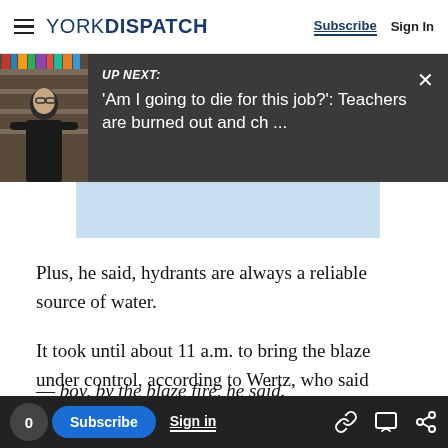YORK DISPATCH  Subscribe  Sign In
[Figure (screenshot): UP NEXT banner with photo of a woman in a bookstore. Text reads: 'Am I going to die for this job?': Teachers are burned out and ch ...]
Plus, he said, hydrants are always a reliable source of water.
It took until about 11 a.m. to bring the blaze under control, according to Wertz, who said crews remained on scene until after 1 p.m. doing overhaul and watching for hot spots.
0  Subscribe  Sign in